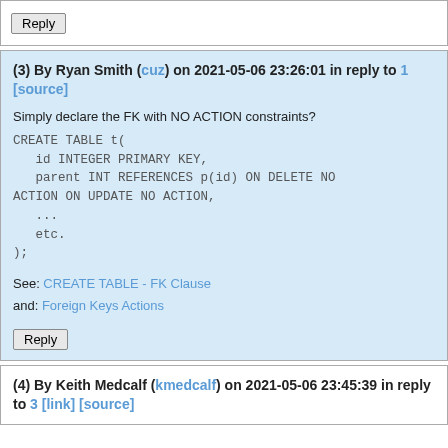Reply
(3) By Ryan Smith (cuz) on 2021-05-06 23:26:01 in reply to 1 [source]
Simply declare the FK with NO ACTION constraints?
CREATE TABLE t(
   id INTEGER PRIMARY KEY,
   parent INT REFERENCES p(id) ON DELETE NO ACTION ON UPDATE NO ACTION,
   ...
   etc.
);
See: CREATE TABLE - FK Clause
and: Foreign Keys Actions
Reply
(4) By Keith Medcalf (kmedcalf) on 2021-05-06 23:45:39 in reply to 3 [link] [source]